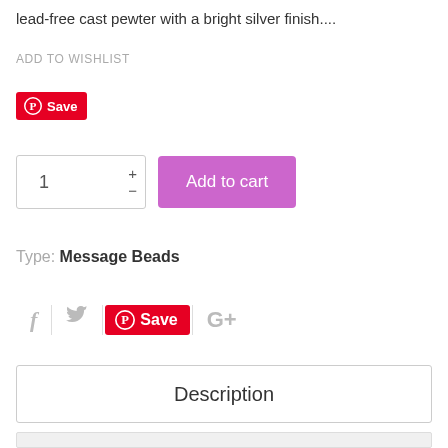lead-free cast pewter with a bright silver finish....
ADD TO WISHLIST
[Figure (other): Pinterest Save button (small, red)]
[Figure (other): Quantity selector box showing 1, with plus and minus buttons, and Add to cart purple button]
Type: Message Beads
[Figure (other): Social share icons row: Facebook (f), Twitter (bird), Pinterest Save (red), Google Plus (G+)]
Description